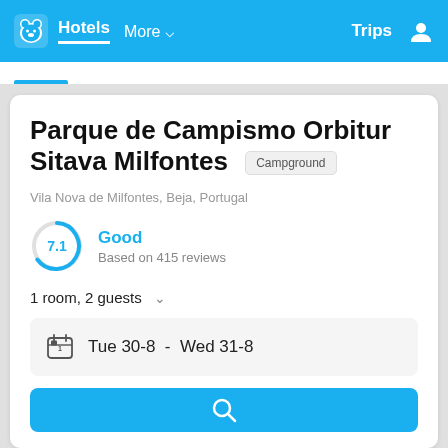Hotels  More  Trips
Parque de Campismo Orbitur Sitava Milfontes  Campground
Vila Nova de Milfontes, Beja, Portugal
7.1  Good  Based on 415 reviews
1 room, 2 guests
Tue 30-8  -  Wed 31-8